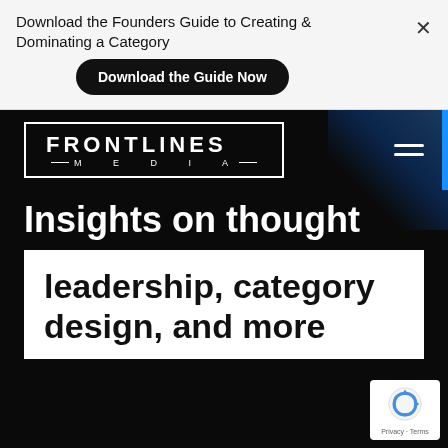Download the Founders Guide to Creating & Dominating a Category
Download the Guide Now
[Figure (logo): Frontlines Media logo — white text in a white bordered rectangle. Top line: FRONTLINES in large bold spaced letters. Bottom line: — MEDIA — in smaller spaced letters.]
Insights on thought leadership, category design, and more
[Figure (other): Google reCAPTCHA badge with recycle-arrow icon, Privacy and Terms links]